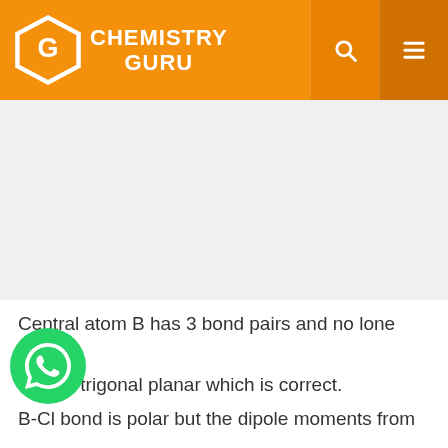CHEMISTRY GURU
[Figure (other): Advertisement banner placeholder area]
Central atom B has 3 bond pairs and no lone pair.
So it is trigonal planar which is correct.
B-Cl bond is polar but the dipole moments from